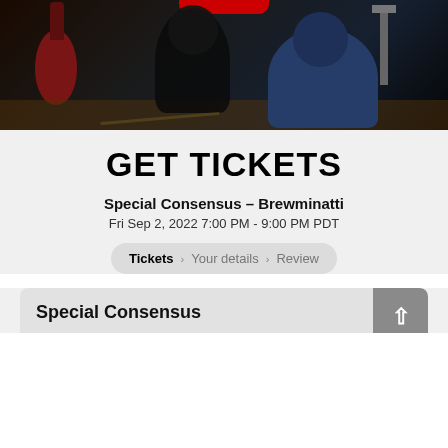[Figure (photo): Concert/music session photo showing musicians in a dark room with a red guitar on the left, a person in dark clothing in the center, a person in a blue shirt on the right, and a stool. A partial red logo is visible at the top.]
GET TICKETS
Special Consensus – Brewminatti
Fri Sep 2, 2022 7:00 PM - 9:00 PM PDT
Tickets > Your details > Review
Special Consensus